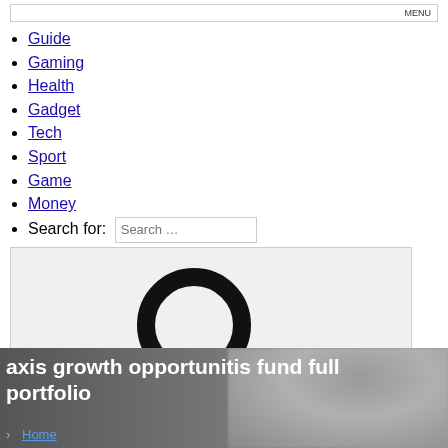MENU
Guide
Gaming
Health
Gadget
Tech
Sport
Game
Money
Search for:
[Figure (illustration): Large magnifying glass search icon on a light gray background with a Search button label in the bottom right]
axis growth opportunities fund full portfolio
Home